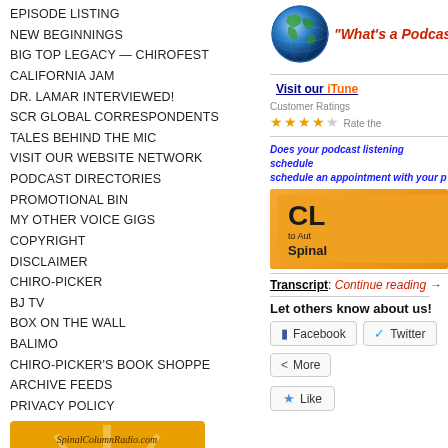EPISODE LISTING
NEW BEGINNINGS
BIG TOP LEGACY — CHIROFEST
CALIFORNIA JAM
DR. LAMAR INTERVIEWED!
SCR GLOBAL CORRESPONDENTS
TALES BEHIND THE MIC
VISIT OUR WEBSITE NETWORK
PODCAST DIRECTORIES
PROMOTIONAL BIN
MY OTHER VOICE GIGS
COPYRIGHT
DISCLAIMER
CHIRO-PICKER
BJ TV
BOX ON THE WALL
BALIMO
CHIRO-PICKER'S BOOK SHOPPE
ARCHIVE FEEDS
PRIVACY POLICY
[Figure (illustration): Spine Bites podcast logo - orange background with red radio microphone and SpinalColumnRadio.com branding]
[Figure (illustration): Globe icon representing world/internet]
"What's a Podcast?"
Visit our iTunes
Customer Ratings ★★★★★ Rate the
Does your podcast listening schedule... schedule an appointment with your p...
CL to Aut Spinal
Transcript: Continue reading →
Let others know about us!
Facebook
Twitter
More
Like